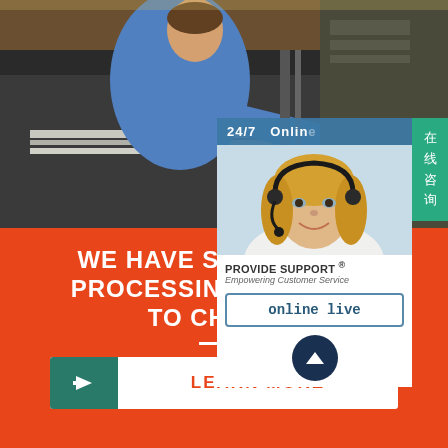[Figure (photo): Industrial worker in blue uniform bending over a metal press/cutting machine measuring metal sheets in a factory setting]
[Figure (infographic): Customer support widget showing a female customer service representative with headset, '24/7 Online' header in blue, 'PROVIDE SUPPORT® Empowering Customer Service' logo, and 'online live' button. Chinese text sidebar '在线咨询' (Online Consultation) in teal/green.]
WE HAVE SOME METAL PROCESSING CAPACITY FOR YOU TO CHOOSE
[Figure (infographic): White horizontal divider line]
LEARN MORE